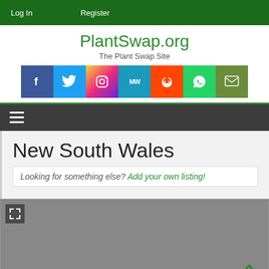Log In   Register
PlantSwap.org
The Plant Swap Site
[Figure (other): Social media icon buttons row: Facebook, Twitter, Instagram, MeWe, Reddit, WhatsApp, Email]
≡ (hamburger menu)
New South Wales
Looking for something else? Add your own listing!
[Figure (map): Gray map placeholder with expand icon in top-left and scroll-up arrow in bottom-right]